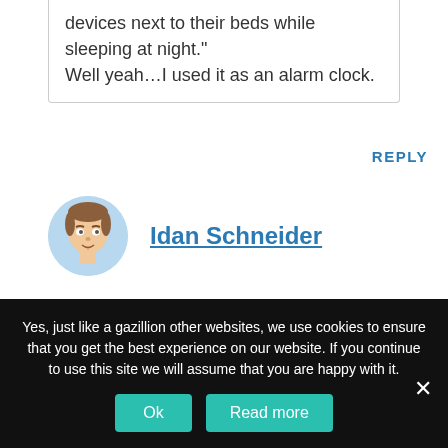devices next to their beds while sleeping at night."
Well yeah…I used it as an alarm clock.
REPLY
[Figure (illustration): Cartoon avatar of a man with brown hair in a circular frame with light blue background]
Idan Schneider
10 years ago
Yes, just like a gazillion other websites, we use cookies to ensure that you get the best experience on our website. If you continue to use this site we will assume that you are happy with it.
Ok
Read more